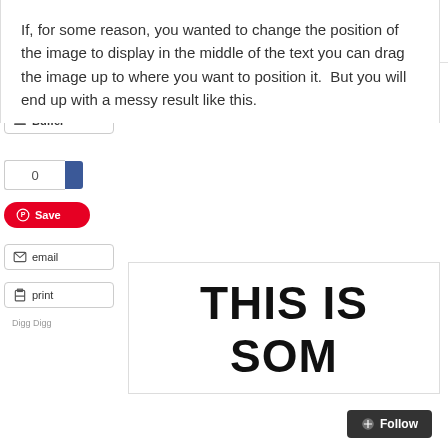[Figure (logo): TheJayTray logo with tagline 'Helping You Work Smarter']
[Figure (screenshot): Social share sidebar with Tweet, Buffer, share count (0), Save/Pinterest, email, print buttons, and Digg Digg label]
If, for some reason, you wanted to change the position of the image to display in the middle of the text you can drag the image up to where you want to position it.  But you will end up with a messy result like this.
THIS IS SOM